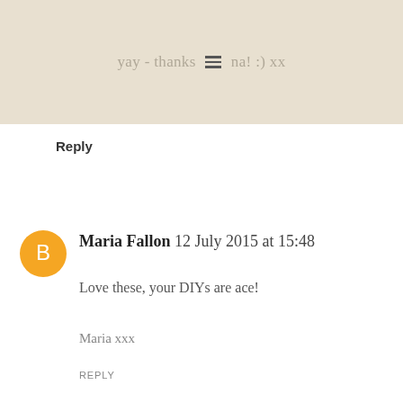[Figure (screenshot): Top beige bar with faded text 'yay - thanks na! :) xx' and a hamburger menu icon overlay]
Reply
Maria Fallon 12 July 2015 at 15:48
Love these, your DIYs are ace!

Maria xxx

REPLY
▾ Replies
burkatron ✔ 16 July 2015 at 10:42 ∧
woohoo! so pleased you enjoy them :)